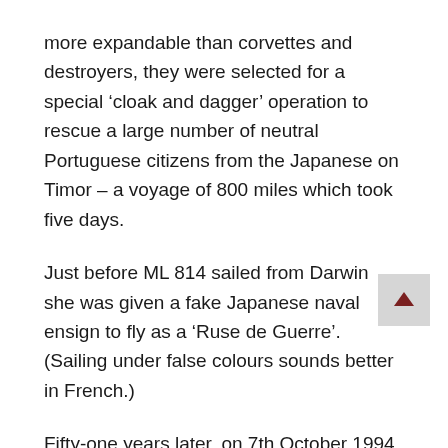more expandable than corvettes and destroyers, they were selected for a special 'cloak and dagger' operation to rescue a large number of neutral Portuguese citizens from the Japanese on Timor – a voyage of 800 miles which took five days.
Just before ML 814 sailed from Darwin she was given a fake Japanese naval ensign to fly as a 'Ruse de Guerre'. (Sailing under false colours sounds better in French.)
Fifty-one years later, on 7th October 1994,